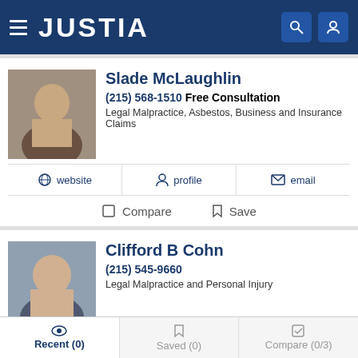JUSTIA
Slade McLaughlin
(215) 568-1510 Free Consultation
Legal Malpractice, Asbestos, Business and Insurance Claims
website | profile | email
Compare | Save
Clifford B Cohn
(215) 545-9660
Legal Malpractice and Personal Injury
website | profile | email
Recent (0) | Saved (0) | Compare (0/3)